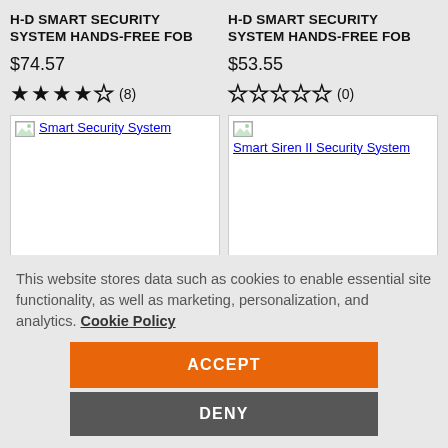H-D SMART SECURITY SYSTEM HANDS-FREE FOB
$74.57
★★★★☆ (8)
[Figure (photo): Smart Security System product image placeholder]
H-D SMART SECURITY SYSTEM HANDS-FREE FOB
$53.55
☆☆☆☆☆ (0)
[Figure (photo): Smart Siren II Security System product image placeholder]
This website stores data such as cookies to enable essential site functionality, as well as marketing, personalization, and analytics. Cookie Policy
ACCEPT
DENY